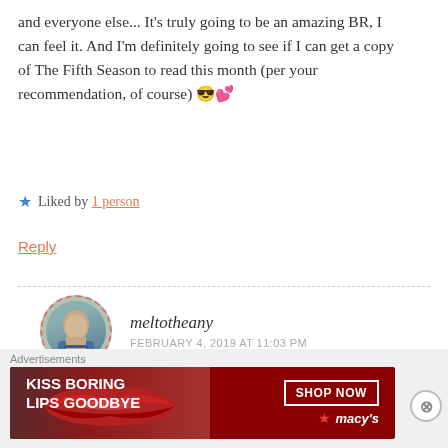and everyone else... It's truly going to be an amazing BR, I can feel it. And I'm definitely going to see if I can get a copy of The Fifth Season to read this month (per your recommendation, of course) 😎💕
★ Liked by 1 person
Reply
[Figure (photo): Avatar of commenter meltotheany, circular photo with dashed red border]
meltotheany
FEBRUARY 4, 2019 AT 11:03 PM
I am so excited, too! It's going to be amazing! And... all I want in this world is for you to read The Fifth
Advertisements
[Figure (infographic): Macy's advertisement banner: KISS BORING LIPS GOODBYE with SHOP NOW button and Macy's star logo]